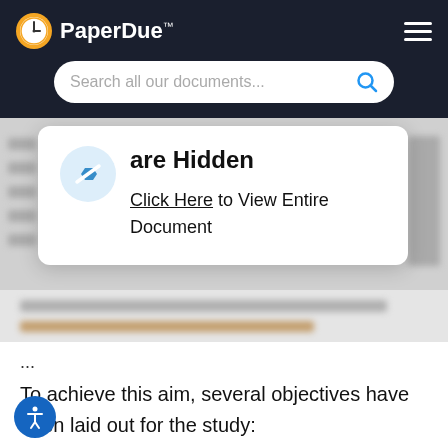PaperDue™
Search all our documents...
are Hidden
Click Here to View Entire Document
...
To achieve this aim, several objectives have been laid out for the study: